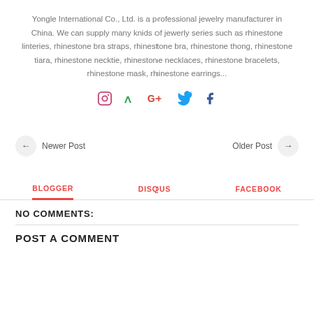Yongle International Co., Ltd. is a professional jewelry manufacturer in China. We can supply many knids of jewerly series such as rhinestone linteries, rhinestone bra straps, rhinestone bra, rhinestone thong, rhinestone tiara, rhinestone necktie, rhinestone necklaces, rhinestone bracelets, rhinestone mask, rhinestone earrings...
[Figure (infographic): Social media icons row: Instagram, Vine, Google+, Twitter, Facebook]
← Newer Post    Older Post →
BLOGGER   DISQUS   FACEBOOK
NO COMMENTS:
POST A COMMENT